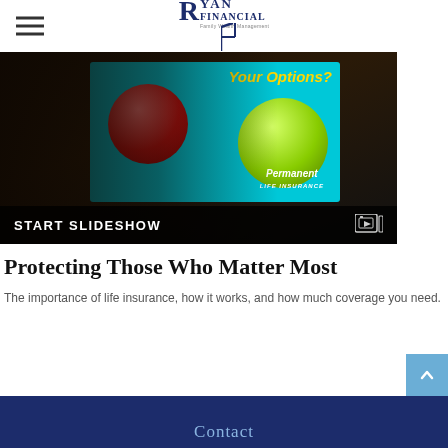Ryan Financial
[Figure (screenshot): Slideshow thumbnail showing a tablet device with life insurance options — a red apple and green apple on a teal screen with 'Your Options?' text and 'Permanent Life Insurance' label. START SLIDESHOW button at bottom.]
Protecting Those Who Matter Most
The importance of life insurance, how it works, and how much coverage you need.
Contact